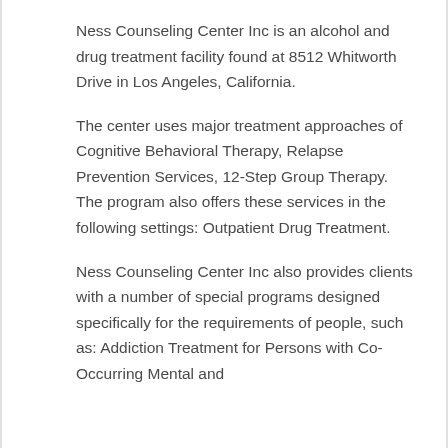Ness Counseling Center Inc is an alcohol and drug treatment facility found at 8512 Whitworth Drive in Los Angeles, California.
The center uses major treatment approaches of Cognitive Behavioral Therapy, Relapse Prevention Services, 12-Step Group Therapy. The program also offers these services in the following settings: Outpatient Drug Treatment.
Ness Counseling Center Inc also provides clients with a number of special programs designed specifically for the requirements of people, such as: Addiction Treatment for Persons with Co-Occurring Mental and